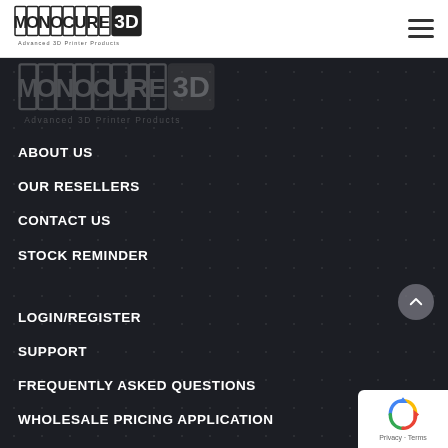[Figure (logo): Monocure 3D logo with text 'Advanced 3D Printer Products' in top navigation bar]
[Figure (logo): Monocure 3D watermark logo on dark background]
ABOUT US
OUR RESELLERS
CONTACT US
STOCK REMINDER
LOGIN/REGISTER
SUPPORT
FREQUENTLY ASKED QUESTIONS
WHOLESALE PRICING APPLICATION
[Figure (other): reCAPTCHA badge with recycling arrow icon, Privacy and Terms links]